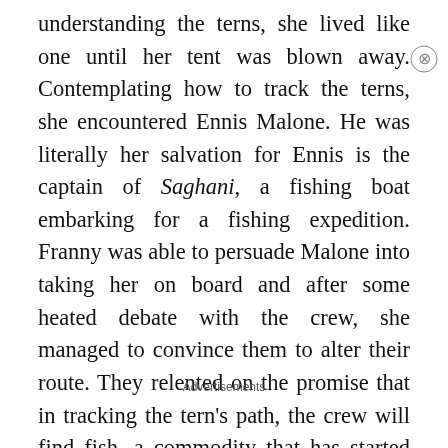understanding the terns, she lived like one until her tent was blown away. Contemplating how to track the terns, she encountered Ennis Malone. He was literally her salvation for Ennis is the captain of Saghani, a fishing boat embarking for a fishing expedition. Franny was able to persuade Malone into taking her on board and after some heated debate with the crew, she managed to convince them to alter their route. They relented on the promise that in tracking the tern's path, the crew will find fish, a commodity that has started dwindling in numbers. Arctic terns, after all, have earned the reputation for seeking out large fish
Advertisements